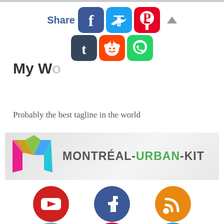[Figure (screenshot): Share bar with social media icons: Facebook, Twitter, Pinterest (row 1); Tumblr, Reddit, WhatsApp (row 2), plus an up arrow]
My W…
Probably the best tagline in the world
[Figure (logo): Montréal-Urban-Kit logo with colorful M and text MONTRÉAL-URBAN-KIT]
[Figure (infographic): Social media icon grid: YouTube (red circle), Facebook (blue circle), RSS (orange circle), Email (light blue circle), Pinterest (red circle), Twitter (cyan circle)]